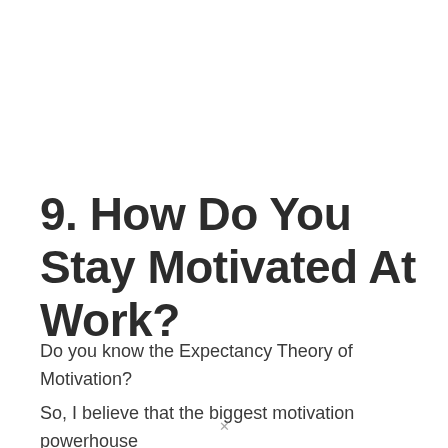9. How Do You Stay Motivated At Work?
Do you know the Expectancy Theory of Motivation? So, I believe that the biggest motivation powerhouse is from within. The...